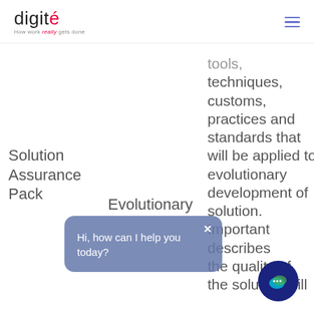digité — How work really gets done
| Column 1 | Column 2 | Column 3 |
| --- | --- | --- |
| Solution Assurance Pack | Evolutionary | tools, techniques, customs, practices and standards that will be applied to evolutionary development of solution. Importantly describes the quality of the solution will |
Hi, how can I help you today?